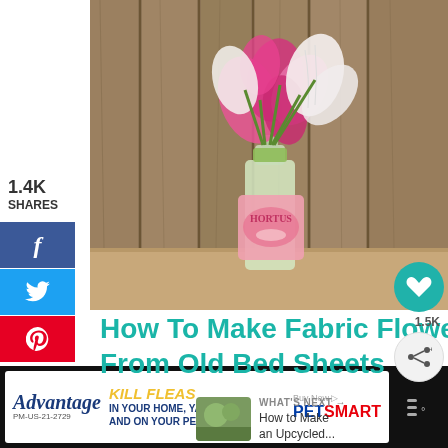[Figure (photo): Photo of pink and white fabric flowers in a glass bottle (Hortus) vase against a rustic wooden plank background.]
1.4K
SHARES
How To Make Fabric Flowers From Old Bed Sheets →
[Figure (photo): Thumbnail image for 'How to Make an Upcycled...' What's Next article.]
WHAT'S NEXT → How to Make an Upcycled...
[Figure (infographic): Advertisement banner: Advantage - KILL FLEAS IN YOUR HOME, YARD, AND ON YOUR PET. PetSmart Buy Now.]